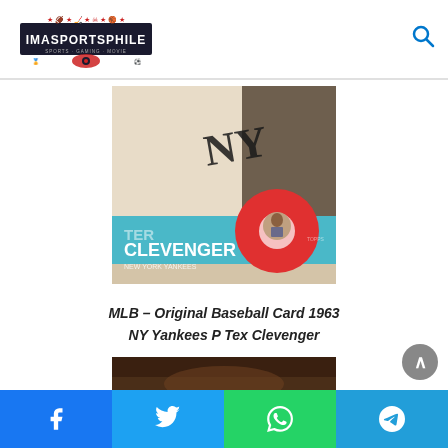IMASPORTSPHILE — Sports · Gaming · Movie
[Figure (photo): Close-up photo of a 1963 Topps baseball card showing Tex Clevenger of the NY Yankees. Card shows blue banner at bottom reading 'CLEVENGER' with 'NEW YORK YANKEES' below. Player wearing Yankees uniform visible above.]
MLB – Original Baseball Card 1963 NY Yankees P Tex Clevenger
[Figure (photo): Partial view of a second baseball card (back or another card), dark brownish tones, partially cut off at page bottom.]
Share buttons: Facebook, Twitter, WhatsApp, Telegram